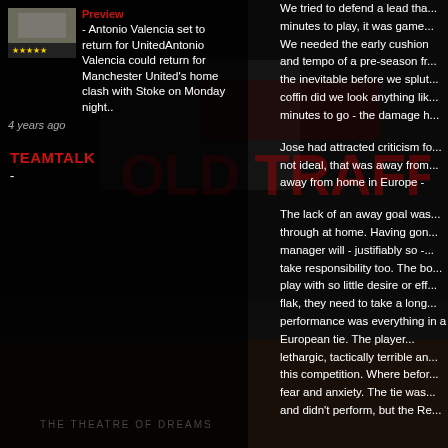Preview - Antonio Valencia set to return for UnitedAntonio Valencia could return for Manchester United's home clash with Stoke on Monday night..
4 years ago
TEAMTALK
-
We tried to defend a lead tha... minutes to play, it was game... We needed the early cushion... and tempo of a pre-season fr... the inevitable before we splut... coffin did we look anything lik... minutes to go - the damage h...
Jose had attracted criticism fo... not ideal, that was away from... away from home in Europe -
The lack of an away goal was... through at home. Having gon... manager will - justifiably so -... take responsibility too. The bo... play with so little desire or eff... flak, they need to take a long... performance was everything... in a European tie. The player... lethargic, tactically terrible an... this competition. Where befor... fear and anxiety. The tie was... and didn't perform, but the Re... 180 minutes of this kind...